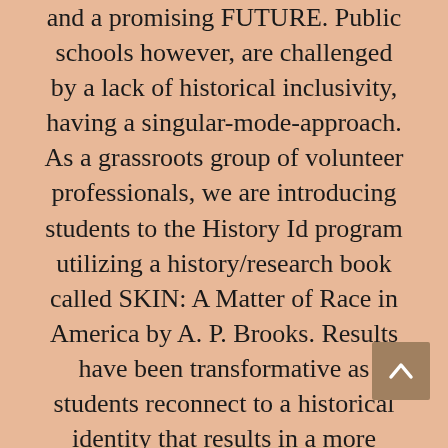and a promising FUTURE. Public schools however, are challenged by a lack of historical inclusivity, having a singular-mode-approach. As a grassroots group of volunteer professionals, we are introducing students to the History Id program utilizing a history/research book called SKIN: A Matter of Race in America by A. P. Brooks. Results have been transformative as students reconnect to a historical identity that results in a more positive self awareness while